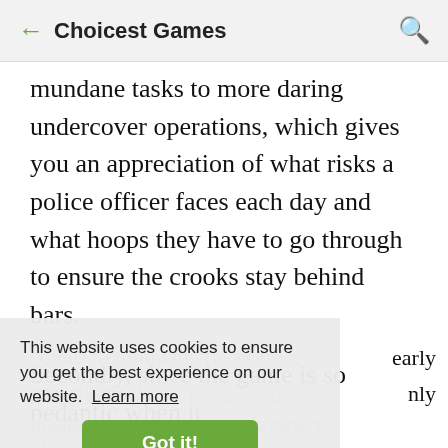← Choicest Games 🔍
mundane tasks to more daring undercover operations, which gives you an appreciation of what risks a police officer faces each day and what hoops they have to go through to ensure the crooks stay behind bars.
Secondly, since the game is so pedantic when it comes to following the correct procedures, it means the game is actually easier than other early Sierra adventures because there's generally only one way to solve the puzzle and the answer is often in the manual.
This website uses cookies to ensure you get the best experience on our website. Learn more Got it!